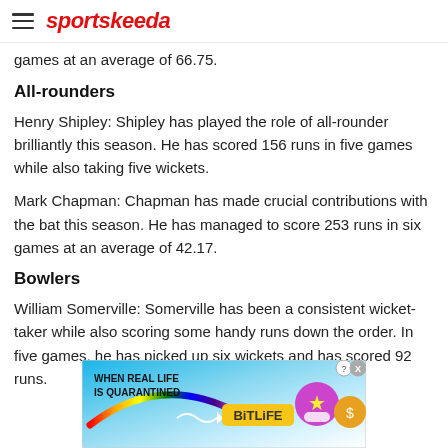sportskeeda
games at an average of 66.75.
All-rounders
Henry Shipley: Shipley has played the role of all-rounder brilliantly this season. He has scored 156 runs in five games while also taking five wickets.
Mark Chapman: Chapman has made crucial contributions with the bat this season. He has managed to score 253 runs in six games at an average of 42.17.
Bowlers
William Somerville: Somerville has been a consistent wicket-taker while also scoring some handy runs down the order. In five games, he has picked up six wickets and has scored 92 runs.
[Figure (other): BitLife advertisement banner with rainbow graphic and cartoon character icons]